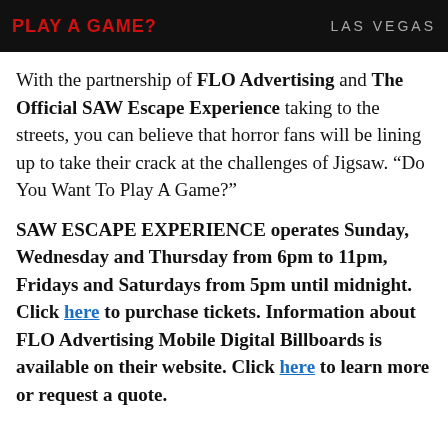[Figure (photo): Dark banner image with red text 'PLAY A GAME?' on the left and light gray text 'LAS VEGAS' on the right against a dark background.]
With the partnership of FLO Advertising and The Official SAW Escape Experience taking to the streets, you can believe that horror fans will be lining up to take their crack at the challenges of Jigsaw. “Do You Want To Play A Game?”
SAW ESCAPE EXPERIENCE operates Sunday, Wednesday and Thursday from 6pm to 11pm, Fridays and Saturdays from 5pm until midnight. Click here to purchase tickets. Information about FLO Advertising Mobile Digital Billboards is available on their website. Click here to learn more or request a quote.